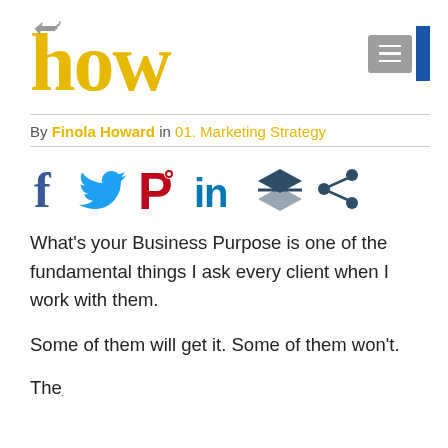how
By Finola Howard in 01. Marketing Strategy
[Figure (other): Social media sharing icons: Facebook, Twitter, Pinterest, LinkedIn, Buffer/layers, Share]
What's your Business Purpose is one of the fundamental things I ask every client when I work with them.
Some of them will get it. Some of them won't.
The... (partial text with link: Start with Wh...)